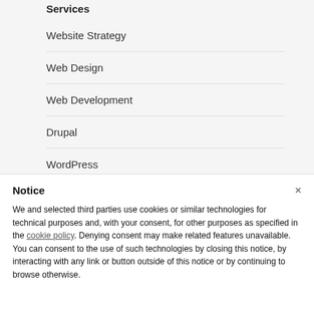Services
Website Strategy
Web Design
Web Development
Drupal
WordPress
Notice
We and selected third parties use cookies or similar technologies for technical purposes and, with your consent, for other purposes as specified in the cookie policy. Denying consent may make related features unavailable.
You can consent to the use of such technologies by closing this notice, by interacting with any link or button outside of this notice or by continuing to browse otherwise.